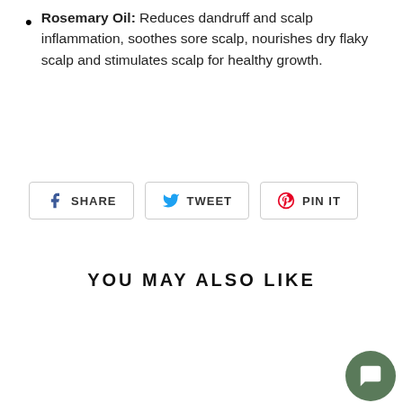Rosemary Oil: Reduces dandruff and scalp inflammation, soothes sore scalp, nourishes dry flaky scalp and stimulates scalp for healthy growth.
[Figure (screenshot): Social share buttons: Facebook SHARE, Twitter TWEET, Pinterest PIN IT]
YOU MAY ALSO LIKE
[Figure (photo): Alikay Naturals Pomegranate Passion Hair Elixir product bottle and a partially visible second product with a green chat bubble icon]